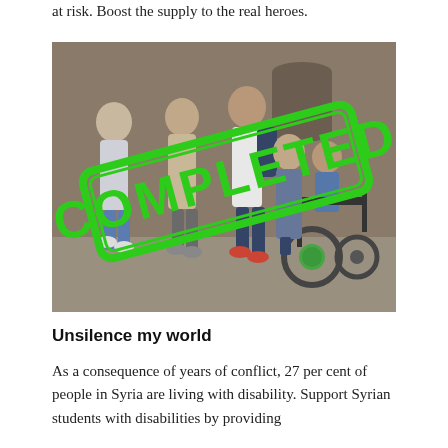at risk. Boost the supply to the real heroes.
[Figure (photo): A group of people walking on a cobblestone street past a stone wall building. A person in a powered wheelchair is among the group. A large green 'COMPLETED' stamp overlay appears diagonally across the image.]
Unsilence my world
As a consequence of years of conflict, 27 per cent of people in Syria are living with disability. Support Syrian students with disabilities by providing